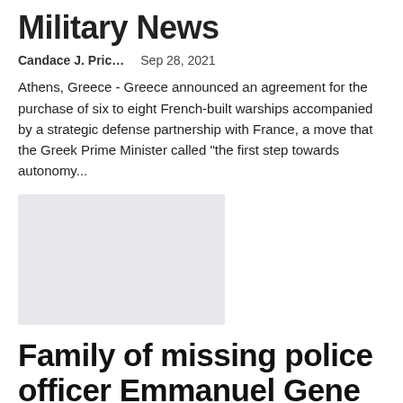Military News
Candace J. Pric…    Sep 28, 2021
Athens, Greece - Greece announced an agreement for the purchase of six to eight French-built warships accompanied by a strategic defense partnership with France, a move that the Greek Prime Minister called "the first step towards autonomy...
[Figure (photo): Placeholder image for news article]
Family of missing police officer Emmanuel Gene takes strong action, petitions IGP and